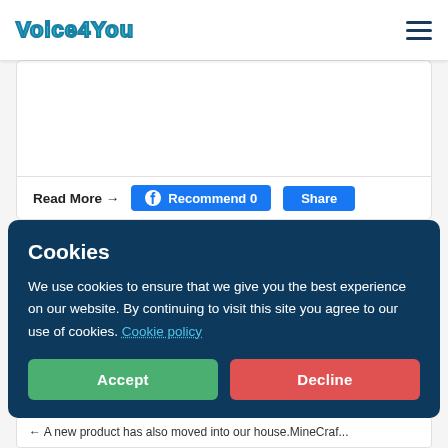Voice4You
[Figure (screenshot): White card area placeholder]
Read More → Recommend 0 Share
Cookies
We use cookies to ensure that we give you the best experience on our website. By continuing to visit this site you agree to our use of cookies. Cookie policy
Accept  Decline
← A new product has also moved into our house.MineCraf...